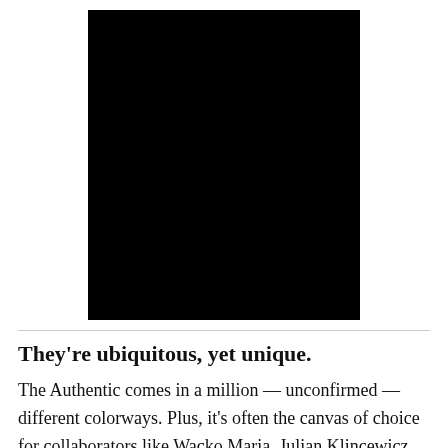[Figure (photo): A solid black rectangular image, likely a product photo (sneaker/shoe) displayed against a black background.]
They're ubiquitous, yet unique.
The Authentic comes in a million — unconfirmed — different colorways. Plus, it's often the canvas of choice for collaborators like Wacko Maria, Julian Klincewicz, MoMA, Anderson Paak and so many